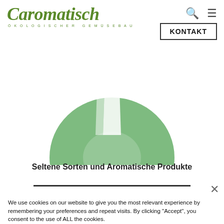[Figure (logo): Caromatisch logo in green italic font with 'ökologischer gemüsebau' subtitle]
[Figure (illustration): Green bowl illustration (top portion visible)]
Seltene Sorten und Aromatische Produkte
We use cookies on our website to give you the most relevant experience by remembering your preferences and repeat visits. By clicking “Accept”, you consent to the use of ALL the cookies.
Do not sell my personal information.
Diese Website benutzt Cookies. Wenn du die Website weiter nutzt, gehen wir von deinem Einverständnis aus.